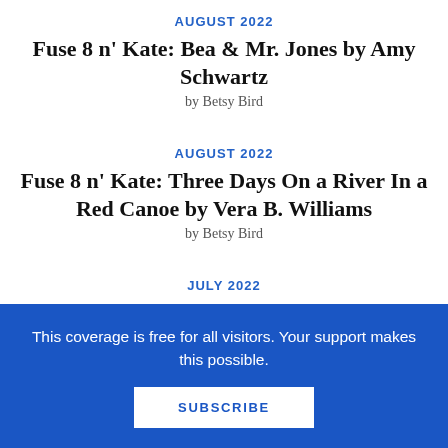AUGUST 2022
Fuse 8 n' Kate: Bea & Mr. Jones by Amy Schwartz
by Betsy Bird
AUGUST 2022
Fuse 8 n' Kate: Three Days On a River In a Red Canoe by Vera B. Williams
by Betsy Bird
JULY 2022
Fuse 8 n' Kate: Robert the Rose Horse by
This coverage is free for all visitors. Your support makes this possible.
SUBSCRIBE